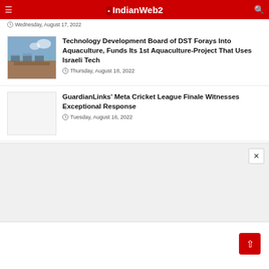IndianWeb2
Wednesday, August 17, 2022
Technology Development Board of DST Forays Into Aquaculture, Funds Its 1st Aquaculture-Project That Uses Israeli Tech
Thursday, August 18, 2022
GuardianLinks' Meta Cricket League Finale Witnesses Exceptional Response
Tuesday, August 16, 2022